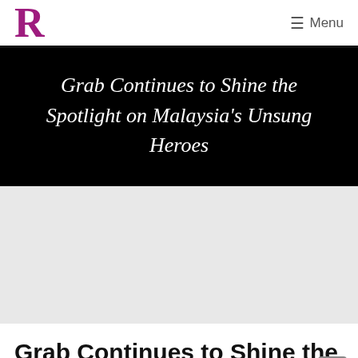R  Menu
Grab Continues to Shine the Spotlight on Malaysia's Unsung Heroes
[Figure (other): Grey placeholder image area below the black hero banner]
Grab Continues to Shine the Spotlight on Malaysia's